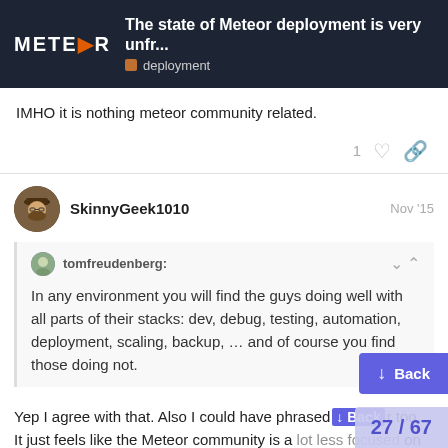The state of Meteor deployment is very unfr... | deployment
IMHO it is nothing meteor community related.
SkinnyGeek1010  Nov '15
tomfreudenberg: In any environment you will find the guys doing well with all parts of their stacks: dev, debug, testing, automation, deployment, scaling, backup, … and of course you find those doing not.
Yep I agree with that. Also I could have phrased it better too… It just feels like the Meteor community is a lot less focused on testing and code quality compared to other communities I'm part of (Rails and Phoenix mostly) and it al